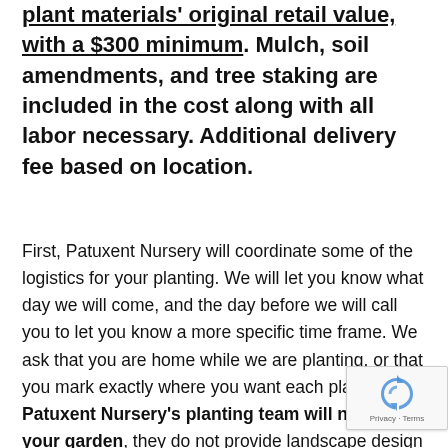plant materials' original retail value, with a $300 minimum. Mulch, soil amendments, and tree staking are included in the cost along with all labor necessary. Additional delivery fee based on location.
First, Patuxent Nursery will coordinate some of the logistics for your planting. We will let you know what day we will come, and the day before we will call you to let you know a more specific time frame. We ask that you are home while we are planting, or that you mark exactly where you want each plant to go. Patuxent Nursery's planting team will not design your garden, they do not provide landscape design services.